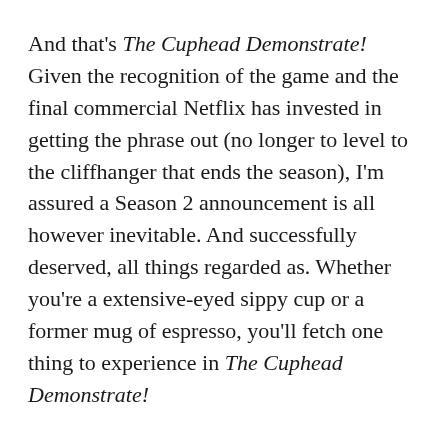And that's The Cuphead Demonstrate! Given the recognition of the game and the final commercial Netflix has invested in getting the phrase out (no longer to level to the cliffhanger that ends the season), I'm assured a Season 2 announcement is all however inevitable. And successfully deserved, all things regarded as. Whether you're a extensive-eyed sippy cup or a former mug of espresso, you'll fetch one thing to experience in The Cuphead Demonstrate!